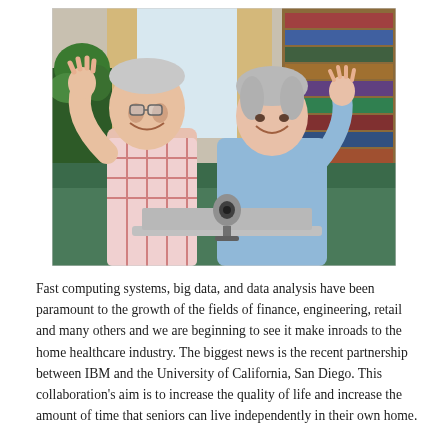[Figure (photo): An elderly couple (man in plaid shirt, woman in light blue top) sitting on a couch smiling and waving at a laptop with a webcam in front of them. Background shows bookshelf and houseplants.]
Fast computing systems, big data, and data analysis have been paramount to the growth of the fields of finance, engineering, retail and many others and we are beginning to see it make inroads to the home healthcare industry. The biggest news is the recent partnership between IBM and the University of California, San Diego. This collaboration's aim is to increase the quality of life and increase the amount of time that seniors can live independently in their own home.